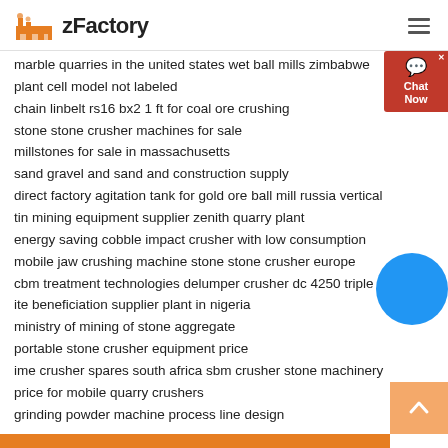zFactory
marble quarries in the united states wet ball mills zimbabwe
plant cell model not labeled
chain linbelt rs16 bx2 1 ft for coal ore crushing
stone stone crusher machines for sale
millstones for sale in massachusetts
sand gravel and sand and construction supply
direct factory agitation tank for gold ore ball mill russia vertical
tin mining equipment supplier zenith quarry plant
energy saving cobble impact crusher with low consumption
mobile jaw crushing machine stone stone crusher europe
cbm treatment technologies delumper crusher dc 4250 triple
ite beneficiation supplier plant in nigeria
ministry of mining of stone aggregate
portable stone crusher equipment price
ime crusher spares south africa sbm crusher stone machinery
price for mobile quarry crushers
grinding powder machine process line design